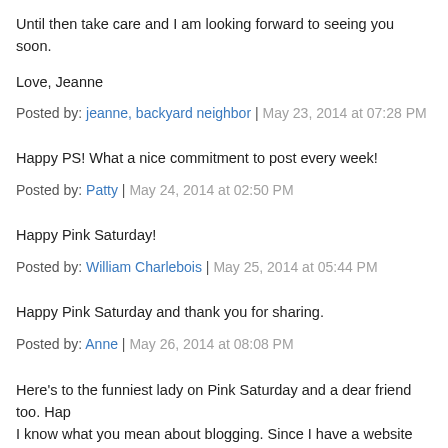Until then take care and I am looking forward to seeing you soon.
Love, Jeanne
Posted by: jeanne, backyard neighbor | May 23, 2014 at 07:28 PM
Happy PS! What a nice commitment to post every week!
Posted by: Patty | May 24, 2014 at 02:50 PM
Happy Pink Saturday!
Posted by: William Charlebois | May 25, 2014 at 05:44 PM
Happy Pink Saturday and thank you for sharing.
Posted by: Anne | May 26, 2014 at 08:08 PM
Here's to the funniest lady on Pink Saturday and a dear friend too. Hap... I know what you mean about blogging. Since I have a website and a bri... blogging has fallen way off. I refused to do facebook for a long time but... right. It is faster and easier. I would spend hours on a blog post. But I sti... often. xoxo P.S. Did I tell you my almost 9 year old grand-daughter ran h... weekend. He is a big time runner and she did great...ran it the whole w... painted all over his face because Dads with daughters got painted face...